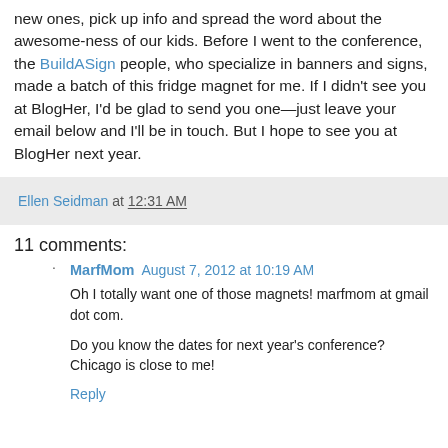new ones, pick up info and spread the word about the awesome-ness of our kids. Before I went to the conference, the BuildASign people, who specialize in banners and signs, made a batch of this fridge magnet for me. If I didn't see you at BlogHer, I'd be glad to send you one—just leave your email below and I'll be in touch. But I hope to see you at BlogHer next year.
Ellen Seidman at 12:31 AM
11 comments:
MarfMom August 7, 2012 at 10:19 AM
Oh I totally want one of those magnets! marfmom at gmail dot com.

Do you know the dates for next year's conference? Chicago is close to me!
Reply